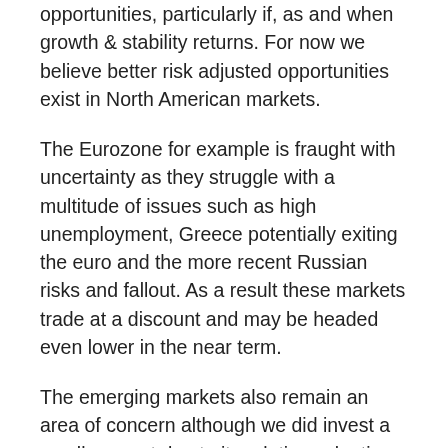opportunities, particularly if, as and when growth & stability returns. For now we believe better risk adjusted opportunities exist in North American markets.
The Eurozone for example is fraught with uncertainty as they struggle with a multitude of issues such as high unemployment, Greece potentially exiting the euro and the more recent Russian risks and fallout. As a result these markets trade at a discount and may be headed even lower in the near term.
The emerging markets also remain an area of concern although we did invest a small amount due to its relative valuation in 2014. We do see opportunities particularly in markets that are